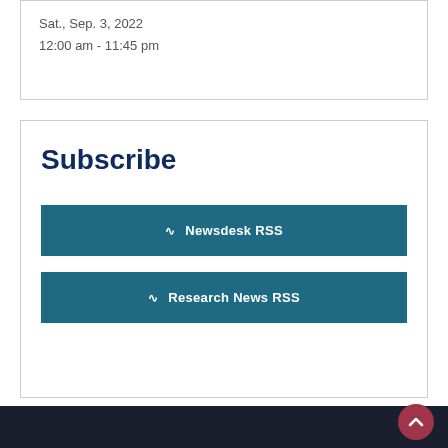Sat., Sep. 3, 2022
12:00 am - 11:45 pm
Subscribe
Newsdesk RSS
Research News RSS